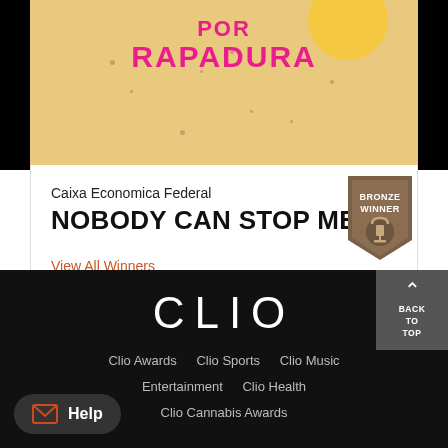[Figure (photo): Image of an advertisement with text 'POR RAPADURA' in pink on a warm beige/yellow background with scattered dots]
Caixa Economica Federal
NOBODY CAN STOP ME
[Figure (illustration): Bronze Winner badge/seal with trophy icon]
View All Winners
CLIO
Clio Awards  Clio Sports  Clio Music
Clio Entertainment  Clio Health
Clio Cannabis Awards